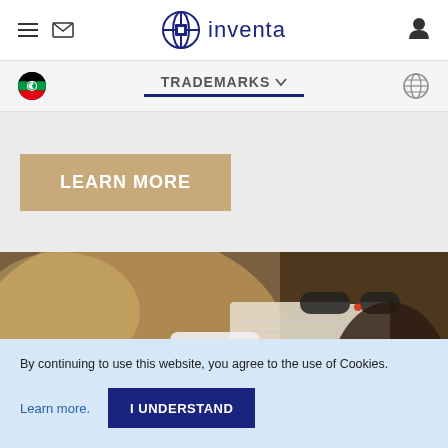inventa
TRADEMARKS
[Figure (screenshot): LEARN MORE button on light gray background]
[Figure (photo): Person holding smartphone with notebook and sunglasses on desk in background]
By continuing to use this website, you agree to the use of Cookies.
Learn more. I UNDERSTAND